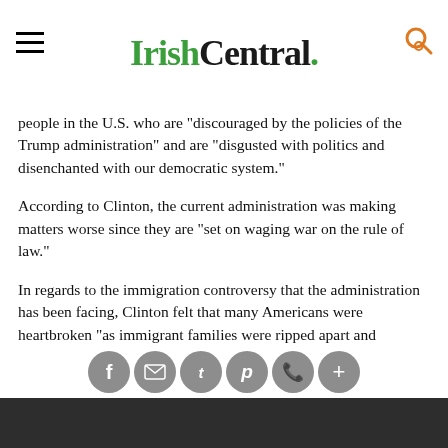IrishCentral.
people in the U.S. who are “discouraged by the policies of the Trump administration” and are “disgust ed with politics and disenchanted with our democratic system.”
According to Clinton, the current administration was making matters worse since they are “set on waging war on the rule of law.”
In regards to the immigration controversy that the administration has been facing, Clinton felt that many Americans were heartbroken “as immigrant families were ripped apart and immigrant children were treated cruelly as political pawns.”
Clinton acknowledged that with the public outcry over U.S. President Trump’s immigration policy separating immigrant children from th… the situation was “finally